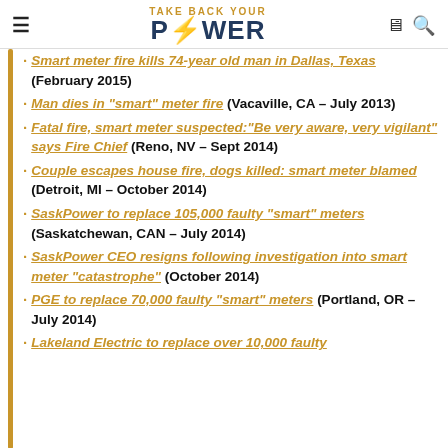Take Back Your Power
Smart meter fire kills 74-year old man in Dallas, Texas (February 2015)
Man dies in "smart" meter fire (Vacaville, CA – July 2013)
Fatal fire, smart meter suspected:"Be very aware, very vigilant" says Fire Chief (Reno, NV – Sept 2014)
Couple escapes house fire, dogs killed: smart meter blamed (Detroit, MI – October 2014)
SaskPower to replace 105,000 faulty "smart" meters (Saskatchewan, CAN – July 2014)
SaskPower CEO resigns following investigation into smart meter "catastrophe" (October 2014)
PGE to replace 70,000 faulty "smart" meters (Portland, OR – July 2014)
Lakeland Electric to replace over 10,000 faulty